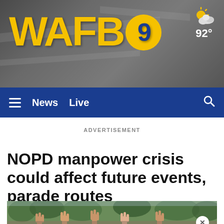WAFB9
[Figure (logo): WAFB9 news station logo with yellow bold text on dark background, weather icon showing partly cloudy 92°]
≡  News  Live  🔍
ADVERTISEMENT
NOPD manpower crisis could affect future events, parade routes
[Figure (photo): Crowd photo showing raised hands against trees in background]